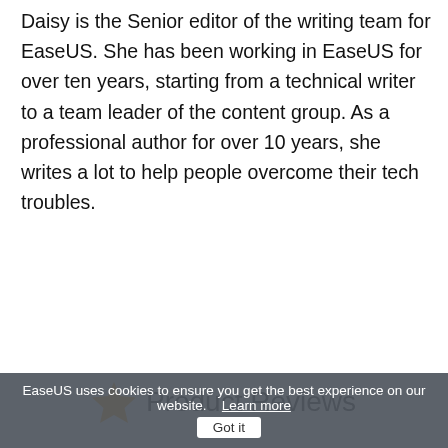Daisy is the Senior editor of the writing team for EaseUS. She has been working in EaseUS for over ten years, starting from a technical writer to a team leader of the content group. As a professional author for over 10 years, she writes a lot to help people overcome their tech troubles.
Read full bio →
Product Reviews
EaseUS uses cookies to ensure you get the best experience on our website.   Learn more   Got it